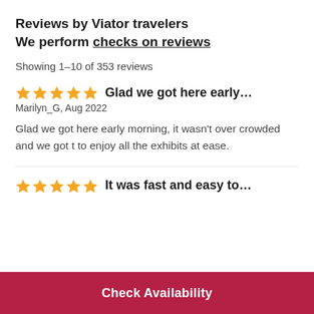Reviews by Viator travelers
We perform checks on reviews
Showing 1-10 of 353 reviews
★★★★★ Glad we got here early...
Marilyn_G, Aug 2022
Glad we got here early morning, it wasn't over crowded and we got t to enjoy all the exhibits at ease.
★★★★★ It was fast and easy to...
Check Availability